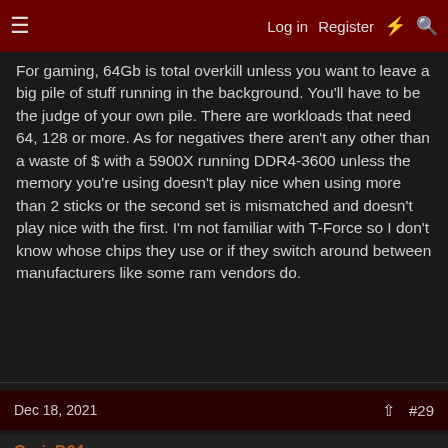≡  Log in  Register  ⚡  🔍
For gaming, 64Gb is total overkill unless you want to leave a big pile of stuff running in the background. You'll have to be the judge of your own pile. There are workloads that need 64, 128 or more. As for negatives there aren't any other than a waste of $ with a 5900X running DDR4-3600 unless the memory you're using doesn't play nice when using more than 2 sticks or the second set is mismatched and doesn't play nice with the first. I'm not familiar with T-Force so I don't know whose chips they use or if they switch around between manufacturers like some ram vendors do.
Dec 18, 2021  #29
CruisD64
2[H]4U
zandor said: